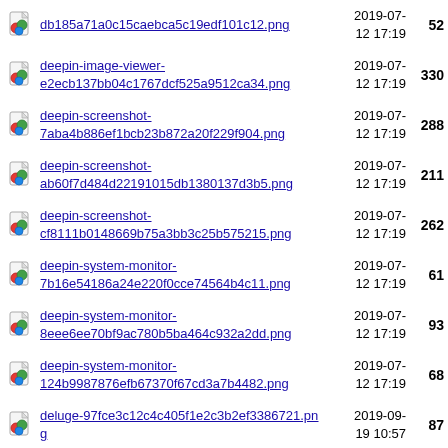db185a71a0c15caebca5c19edf101c12.png  2019-07-12 17:19  52
deepin-image-viewer-e2ecb137bb04c1767dcf525a9512ca34.png  2019-07-12 17:19  330
deepin-screenshot-7aba4b886ef1bcb23b872a20f229f904.png  2019-07-12 17:19  288
deepin-screenshot-ab60f7d484d22191015db1380137d3b5.png  2019-07-12 17:19  211
deepin-screenshot-cf8111b0148669b75a3bb3c25b575215.png  2019-07-12 17:19  262
deepin-system-monitor-7b16e54186a24e220f0cce74564b4c11.png  2019-07-12 17:19  61
deepin-system-monitor-8eee6ee70bf9ac780b5ba464c932a2dd.png  2019-07-12 17:19  93
deepin-system-monitor-124b9987876efb67370f67cd3a7b4482.png  2019-07-12 17:19  68
deluge-97fce3c12c4c405f1e2c3b2ef3386721.png  2019-09-19 10:57  87
dia-bdf75081d70cf8b4b832dad346a03935.png  2019-07-12 17:19  147
dianara-757307139c932cb29a14012f53bccdd7.png  2019-07-12 17:19  103
diffuse-...  2019-07-...  180